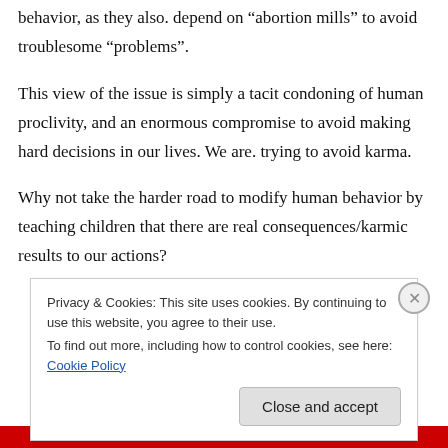behavior, as they also. depend on “abortion mills” to avoid troublesome “problems”.
This view of the issue is simply a tacit condoning of human proclivity, and an enormous compromise to avoid making hard decisions in our lives. We are. trying to avoid karma.
Why not take the harder road to modify human behavior by teaching children that there are real consequences/karmic results to our actions?
Privacy & Cookies: This site uses cookies. By continuing to use this website, you agree to their use.
To find out more, including how to control cookies, see here: Cookie Policy